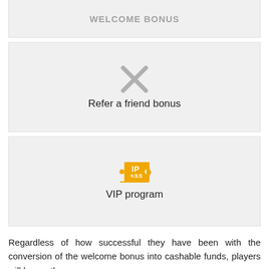[Figure (other): Gray card with partial title visible at top edge (welcome bonus card)]
[Figure (other): Gray card with an X icon and label 'Refer a friend bonus']
Refer a friend bonus
[Figure (other): Gray card with a VIP PASS badge icon and label 'VIP program']
VIP program
Regardless of how successful they have been with the conversion of the welcome bonus into cashable funds, players will have other